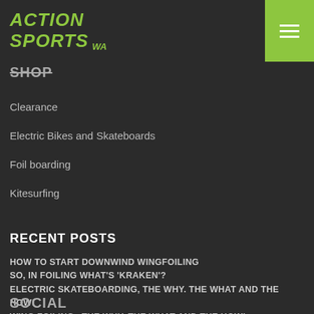ACTION SPORTS WA
SHOP
Clearance
Electric Bikes and Skateboards
Foil boarding
Kitesurfing
RECENT POSTS
HOW TO START DOWNWIND WINGFOILING
SO, IN FOILING WHAT'S 'KRAKEN'?
ELECTRIC SKATEBOARDING, THE WHY. THE WHAT AND THE HOW!
WING FOILING– THE WHY, THE WHAT AND THE HOW!
KITE FOILING – THE WHY, THE WHAT AND THE HOW!
SOCIAL